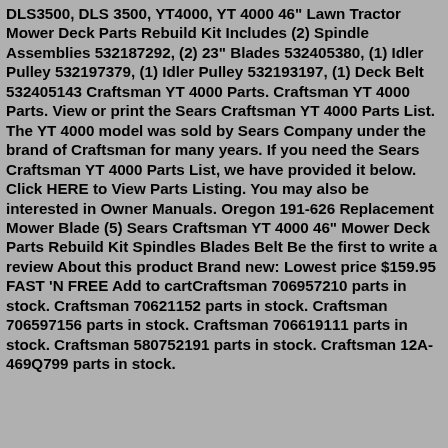DLS3500, DLS 3500, YT4000, YT 4000 46" Lawn Tractor Mower Deck Parts Rebuild Kit Includes (2) Spindle Assemblies 532187292, (2) 23" Blades 532405380, (1) Idler Pulley 532197379, (1) Idler Pulley 532193197, (1) Deck Belt 532405143 Craftsman YT 4000 Parts. Craftsman YT 4000 Parts. View or print the Sears Craftsman YT 4000 Parts List. The YT 4000 model was sold by Sears Company under the brand of Craftsman for many years. If you need the Sears Craftsman YT 4000 Parts List, we have provided it below. Click HERE to View Parts Listing. You may also be interested in Owner Manuals. Oregon 191-626 Replacement Mower Blade (5) Sears Craftsman YT 4000 46" Mower Deck Parts Rebuild Kit Spindles Blades Belt Be the first to write a review About this product Brand new: Lowest price $159.95 FAST 'N FREE Add to cartCraftsman 706957210 parts in stock. Craftsman 70621152 parts in stock. Craftsman 706597156 parts in stock. Craftsman 706619111 parts in stock. Craftsman 580752191 parts in stock. Craftsman 12A-469Q799 parts in stock.